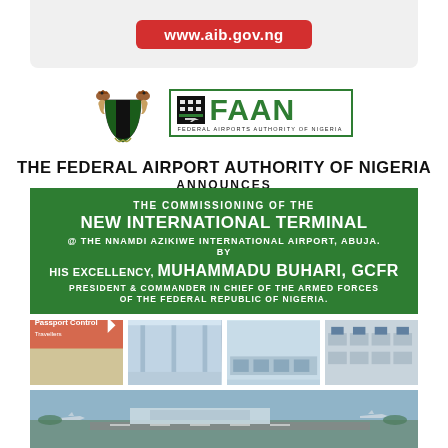[Figure (other): Top banner with AIB website URL button www.aib.gov.ng on grey background]
[Figure (logo): Nigeria Federal Coat of Arms and FAAN (Federal Airports Authority of Nigeria) logo side by side]
THE FEDERAL AIRPORT AUTHORITY OF NIGERIA ANNOUNCES
THE COMMISSIONING OF THE NEW INTERNATIONAL TERMINAL @ THE NNAMDI AZIKIWE INTERNATIONAL AIRPORT, ABUJA. BY HIS EXCELLENCY, MUHAMMADU BUHARI, GCFR PRESIDENT & COMMANDER IN CHIEF OF THE ARMED FORCES OF THE FEDERAL REPUBLIC OF NIGERIA.
[Figure (photo): Row of four airport interior photographs showing passport control, terminal hall, check-in area, and operations room]
[Figure (photo): Wide aerial photograph of Nnamdi Azikiwe International Airport terminal building and runway]